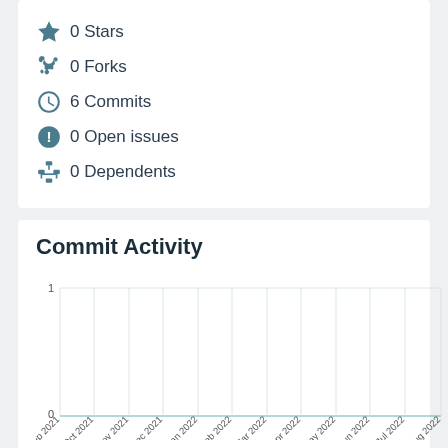0 Stars
0 Forks
6 Commits
0 Open issues
0 Dependents
Commit Activity
[Figure (bar-chart): Commit Activity]